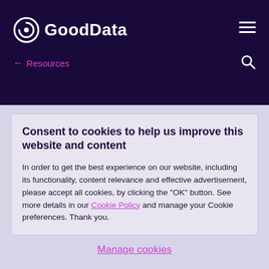[Figure (logo): GoodData logo with circular icon and white text on dark navy background]
← Resources
Consent to cookies to help us improve this website and content
In order to get the best experience on our website, including its functionality, content relevance and effective advertisement, please accept all cookies, by clicking the "OK" button. See more details in our Cookie Policy and manage your Cookie preferences. Thank you.
Manage cookies